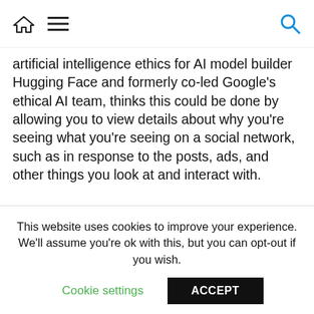Navigation bar with home icon, menu icon, and search icon
artificial intelligence ethics for AI model builder Hugging Face and formerly co-led Google's ethical AI team, thinks this could be done by allowing you to view details about why you're seeing what you're seeing on a social network, such as in response to the posts, ads, and other things you look at and interact with.
[Figure (photo): Portrait photo of a blonde woman looking upward, photographed against a blurred grey background. Photo credit: MCCLAIN POOL/GETTY IMAGES]
This website uses cookies to improve your experience. We'll assume you're ok with this, but you can opt-out if you wish.
Cookie settings  ACCEPT